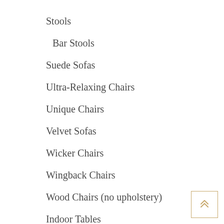Stools
Bar Stools
Suede Sofas
Ultra-Relaxing Chairs
Unique Chairs
Velvet Sofas
Wicker Chairs
Wingback Chairs
Wood Chairs (no upholstery)
Indoor Tables
Coffee Tables
Console Tables